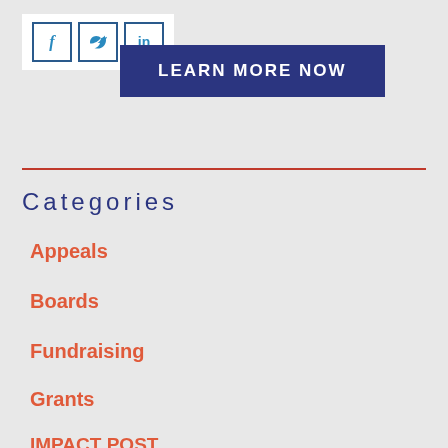[Figure (other): Social media share icons: Facebook (f), Twitter (bird), LinkedIn (in) in blue bordered squares on white background]
LEARN MORE NOW
Categories
Appeals
Boards
Fundraising
Grants
IMPACT POST